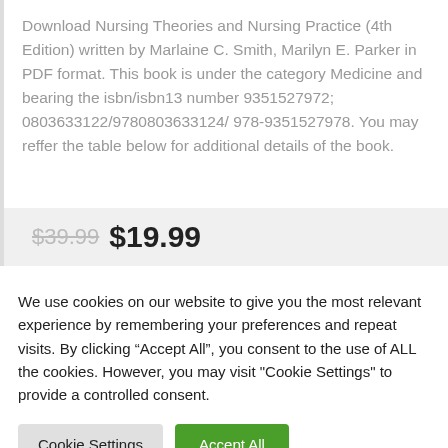Download Nursing Theories and Nursing Practice (4th Edition) written by Marlaine C. Smith, Marilyn E. Parker in PDF format. This book is under the category Medicine and bearing the isbn/isbn13 number 9351527972; 0803633122/9780803633124/ 978-9351527978. You may reffer the table below for additional details of the book.
$39.99 $19.99
We use cookies on our website to give you the most relevant experience by remembering your preferences and repeat visits. By clicking “Accept All”, you consent to the use of ALL the cookies. However, you may visit "Cookie Settings" to provide a controlled consent.
Cookie Settings | Accept All